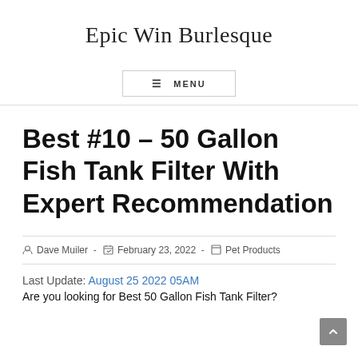Epic Win Burlesque
Best #10 – 50 Gallon Fish Tank Filter With Expert Recommendation
Dave Muiler · February 23, 2022 · Pet Products
Last Update: August 25 2022 05AM
Are you looking for Best 50 Gallon Fish Tank Filter?